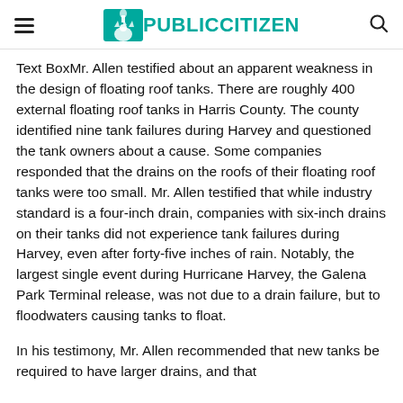PUBLICCITIZEN
Text BoxMr. Allen testified about an apparent weakness in the design of floating roof tanks. There are roughly 400 external floating roof tanks in Harris County. The county identified nine tank failures during Harvey and questioned the tank owners about a cause. Some companies responded that the drains on the roofs of their floating roof tanks were too small. Mr. Allen testified that while industry standard is a four-inch drain, companies with six-inch drains on their tanks did not experience tank failures during Harvey, even after forty-five inches of rain. Notably, the largest single event during Hurricane Harvey, the Galena Park Terminal release, was not due to a drain failure, but to floodwaters causing tanks to float.
In his testimony, Mr. Allen recommended that new tanks be required to have larger drains, and that